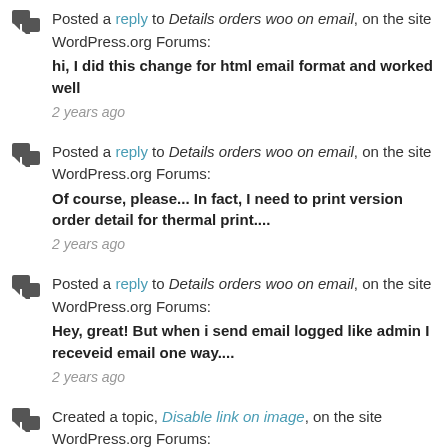Posted a reply to Details orders woo on email, on the site WordPress.org Forums: hi, I did this change for html email format and worked well — 2 years ago
Posted a reply to Details orders woo on email, on the site WordPress.org Forums: Of course, please... In fact, I need to print version order detail for thermal print.... — 2 years ago
Posted a reply to Details orders woo on email, on the site WordPress.org Forums: Hey, great! But when i send email logged like admin I receveid email one way.... — 2 years ago
Created a topic, Disable link on image, on the site WordPress.org Forums: Hello, I use your plugin with shop module, to show pro... — 2 years ago
Posted a reply to Details orders woo on email, on the site